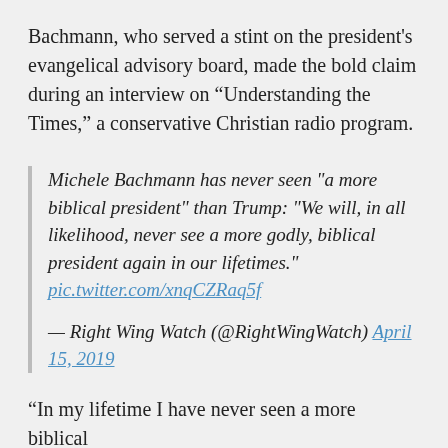Bachmann, who served a stint on the president's evangelical advisory board, made the bold claim during an interview on “Understanding the Times,” a conservative Christian radio program.
Michele Bachmann has never seen "a more biblical president" than Trump: "We will, in all likelihood, never see a more godly, biblical president again in our lifetimes." pic.twitter.com/xnqCZRaq5f

— Right Wing Watch (@RightWingWatch) April 15, 2019
“In my lifetime I have never seen a more biblical